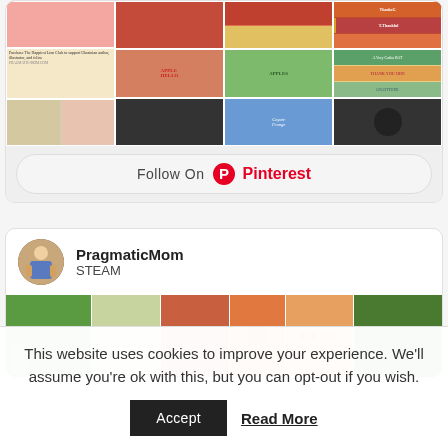[Figure (screenshot): Pinterest board mosaic of book and activity images showing children's books and crafts]
Follow On Pinterest
[Figure (screenshot): Pinterest profile card for PragmaticMom - STEAM board with activity photos]
PragmaticMom
STEAM
This website uses cookies to improve your experience. We'll assume you're ok with this, but you can opt-out if you wish.
Accept
Read More